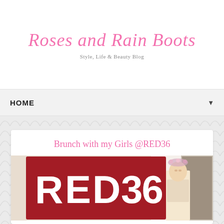Roses and Rain Boots
Style, Life & Beauty Blog
HOME ▼
Brunch with my Girls @RED36
[Figure (photo): A woman wearing a floral crown standing in front of a large red sign with white letters reading RED36]